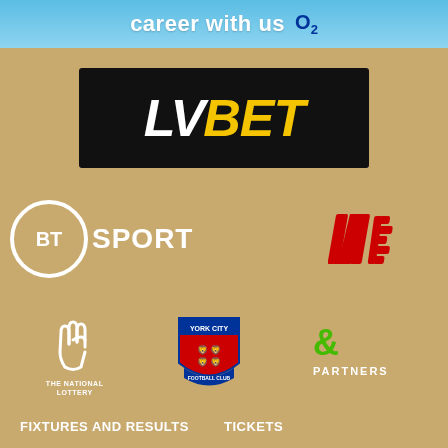[Figure (logo): O2 career banner at top: 'career with us O2' on blue gradient background]
[Figure (logo): LV BET logo: white 'LV' and yellow 'BET' in italic bold on black background]
[Figure (logo): BT Sport logo: white circle with 'BT' text and 'SPORT' text beside it]
[Figure (logo): New Balance red NB logo on gold background]
[Figure (logo): The National Lottery logo: crossed fingers symbol in white]
[Figure (logo): York City Football Club badge/crest]
[Figure (logo): & Partners logo in green and white text]
FIXTURES AND RESULTS    TICKETS